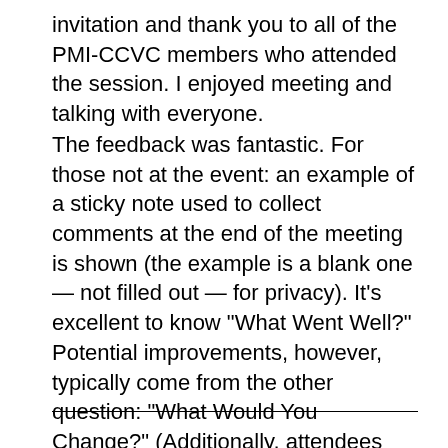invitation and thank you to all of the PMI-CCVC members who attended the session. I enjoyed meeting and talking with everyone.
The feedback was fantastic. For those not at the event: an example of a sticky note used to collect comments at the end of the meeting is shown (the example is a blank one — not filled out — for privacy). It's excellent to know "What Went Well?" Potential improvements, however, typically come from the other question: "What Would You Change?" (Additionally, attendees can provide feedback via an online survey.) All of the feedback is important, appreciated, and valued.